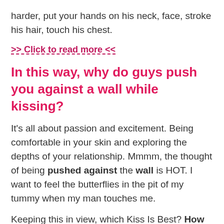harder, put your hands on his neck, face, stroke his hair, touch his chest.
>> Click to read more <<
In this way, why do guys push you against a wall while kissing?
It's all about passion and excitement. Being comfortable in your skin and exploring the depths of your relationship. Mmmm, the thought of being pushed against the wall is HOT. I want to feel the butterflies in the pit of my tummy when my man touches me.
Keeping this in view, which Kiss Is Best? How to kiss in 23 different ways